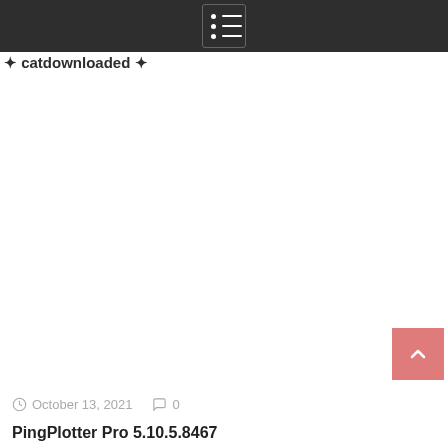(partial site title/logo cropped)
[Figure (screenshot): Dark navigation bar with hamburger/list menu icon centered]
October 13, 2021   0
PingPlotter Pro 5.10.5.8467